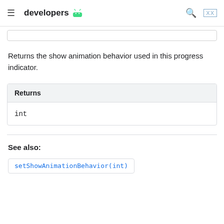developers
Returns the show animation behavior used in this progress indicator.
| Returns |
| --- |
| int |
See also:
setShowAnimationBehavior(int)